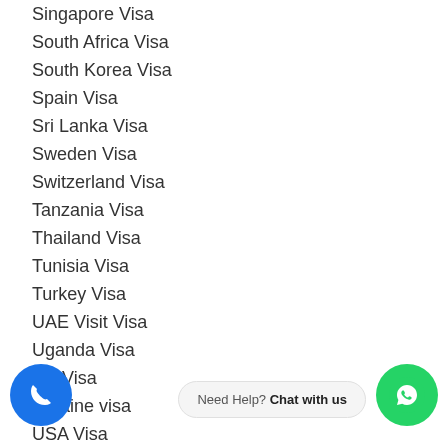Singapore Visa
South Africa Visa
South Korea Visa
Spain Visa
Sri Lanka Visa
Sweden Visa
Switzerland Visa
Tanzania Visa
Thailand Visa
Tunisia Visa
Turkey Visa
UAE Visit Visa
Uganda Visa
UK Visa
Ukraine visa
USA Visa
[Figure (other): Green WhatsApp chat button with speech bubble icon and 'Need Help? Chat with us' label]
[Figure (other): Blue phone call button with phone icon]